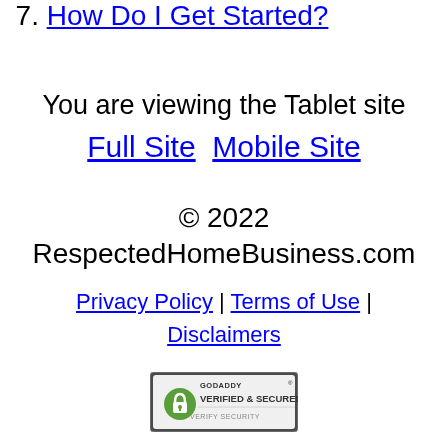7. How Do I Get Started?
You are viewing the Tablet site
Full Site  Mobile Site
© 2022 RespectedHomeBusiness.com
Privacy Policy | Terms of Use | Disclaimers
[Figure (logo): GoDaddy Verified & Secured seal]